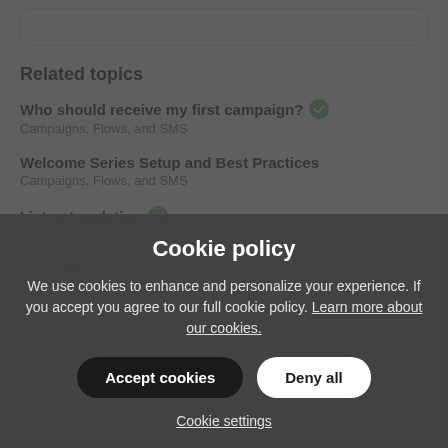Related topics
Who should receive my first campaign? ✓
Campaigns, Flows, and SMS
Welcome Series Setup and Best Practices
Campaigns, Flows, and SMS
List not updating ✓
Lists, Segments, and...
Newsletter li...
Lists, Segments...
Cookie policy
We use cookies to enhance and personalize your experience. If you accept you agree to our full cookie policy. Learn more about our cookies.
Accept cookies
Deny all
Cookie settings